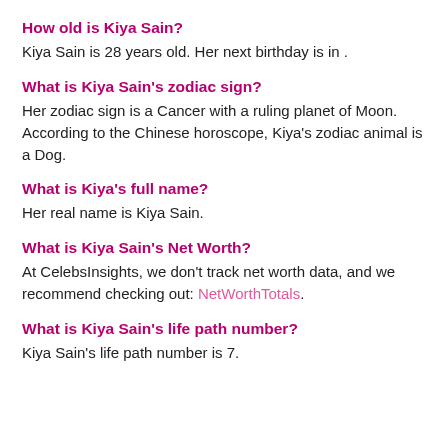How old is Kiya Sain?
Kiya Sain is 28 years old. Her next birthday is in .
What is Kiya Sain's zodiac sign?
Her zodiac sign is a Cancer with a ruling planet of Moon. According to the Chinese horoscope, Kiya's zodiac animal is a Dog.
What is Kiya's full name?
Her real name is Kiya Sain.
What is Kiya Sain's Net Worth?
At CelebsInsights, we don't track net worth data, and we recommend checking out: NetWorthTotals.
What is Kiya Sain's life path number?
Kiya Sain's life path number is 7.